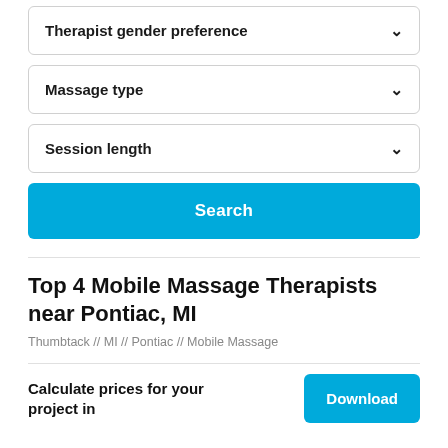Therapist gender preference
Massage type
Session length
Search
Top 4 Mobile Massage Therapists near Pontiac, MI
Thumbtack // MI // Pontiac // Mobile Massage
Calculate prices for your project in
Download